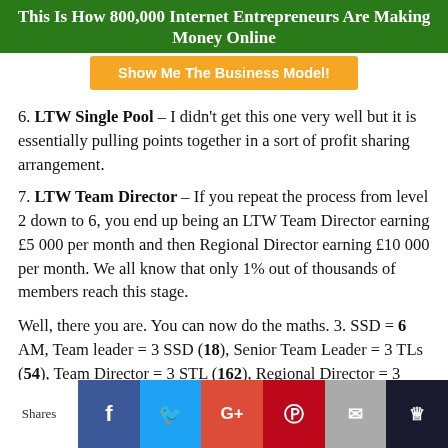This Is How 800,000 Internet Entrepreneurs Are Making Money Online
Show Me The Business Model!
6. LTW Single Pool – I didn't get this one very well but it is essentially pulling points together in a sort of profit sharing arrangement.
7. LTW Team Director – If you repeat the process from level 2 down to 6, you end up being an LTW Team Director earning £5 000 per month and then Regional Director earning £10 000 per month. We all know that only 1% out of thousands of members reach this stage.
Well, there you are. You can now do the maths. 3. SSD = 6 AM, Team leader = 3 SSD (18), Senior Team Leader = 3 TLs (54), Team Director = 3 STL (162), Regional Director = 3 TDs (486). This is not accurate because